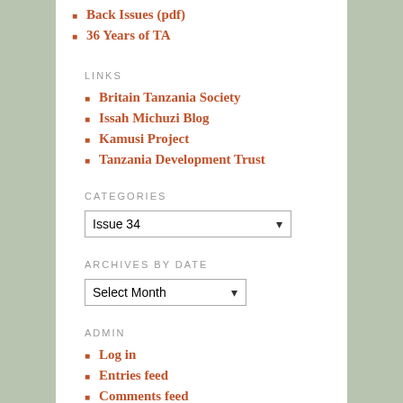Back Issues (pdf)
36 Years of TA
LINKS
Britain Tanzania Society
Issah Michuzi Blog
Kamusi Project
Tanzania Development Trust
CATEGORIES
Issue 34
ARCHIVES BY DATE
Select Month
ADMIN
Log in
Entries feed
Comments feed